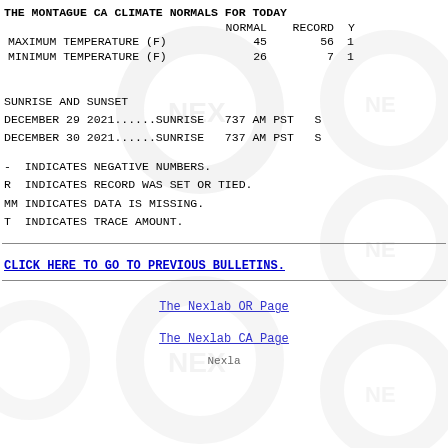THE MONTAGUE CA CLIMATE NORMALS FOR TODAY
|  | NORMAL | RECORD | Y |
| --- | --- | --- | --- |
| MAXIMUM TEMPERATURE (F) | 45 | 56 | 1 |
| MINIMUM TEMPERATURE (F) | 26 | 7 | 1 |
SUNRISE AND SUNSET
DECEMBER 29 2021......SUNRISE   737 AM PST   S
DECEMBER 30 2021......SUNRISE   737 AM PST   S
-  INDICATES NEGATIVE NUMBERS.
R  INDICATES RECORD WAS SET OR TIED.
MM INDICATES DATA IS MISSING.
T  INDICATES TRACE AMOUNT.
CLICK HERE TO GO TO PREVIOUS BULLETINS.
The Nexlab OR Page
The Nexlab CA Page
Nexla